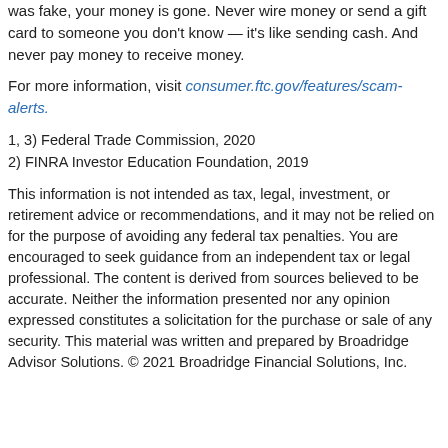was fake, your money is gone. Never wire money or send a gift card to someone you don't know — it's like sending cash. And never pay money to receive money.
For more information, visit consumer.ftc.gov/features/scam-alerts.
1, 3) Federal Trade Commission, 2020
2) FINRA Investor Education Foundation, 2019
This information is not intended as tax, legal, investment, or retirement advice or recommendations, and it may not be relied on for the purpose of avoiding any federal tax penalties. You are encouraged to seek guidance from an independent tax or legal professional. The content is derived from sources believed to be accurate. Neither the information presented nor any opinion expressed constitutes a solicitation for the purchase or sale of any security. This material was written and prepared by Broadridge Advisor Solutions. © 2021 Broadridge Financial Solutions, Inc.